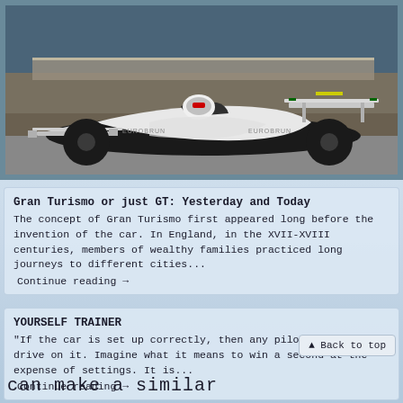[Figure (photo): Formula 1 racing car on track, white/silver car with EUROBRUN livery, photographed from front-left angle on circuit]
Gran Turismo or just GT: Yesterday and Today
The concept of Gran Turismo first appeared long before the invention of the car. In England, in the XVII-XVIII centuries, members of wealthy families practiced long journeys to different cities...
Continue reading →
YOURSELF TRAINER
“If the car is set up correctly, then any pilot can quickly drive on it. Imagine what it means to win a second at the expense of settings. It is...
Continue reading →
▲ Back to top
can make a similar